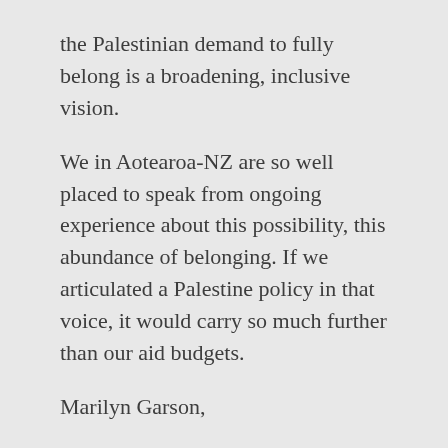the Palestinian demand to fully belong is a broadening, inclusive vision.
We in Aotearoa-NZ are so well placed to speak from ongoing experience about this possibility, this abundance of belonging. If we articulated a Palestine policy in that voice, it would carry so much further than our aid budgets.
Marilyn Garson,
Alternative Jewish Voices
Marilyn Garson / July 7, 2021 / 1 Comment